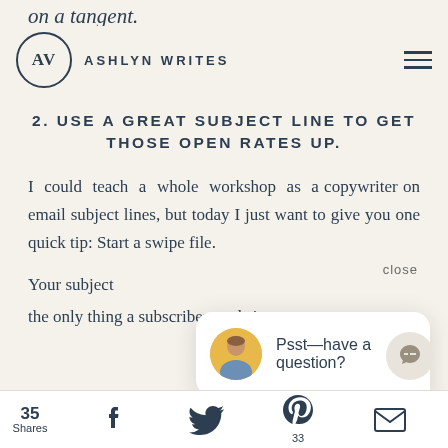AV ASHLYN WRITES
on a tangent.
2. USE A GREAT SUBJECT LINE TO GET THOSE OPEN RATES UP.
I could teach a whole workshop as a copywriter on email subject lines, but today I just want to give you one quick tip: Start a swipe file.
Your subject [line is] the only thing a subscriber reads in your [email. This makes it the most important]
[Figure (other): Chat popup overlay with avatar photo and text 'Psst—have a question?' with close button]
35 Shares  [Facebook icon]  [Twitter icon]  [Pinterest icon] 33  [Email icon]